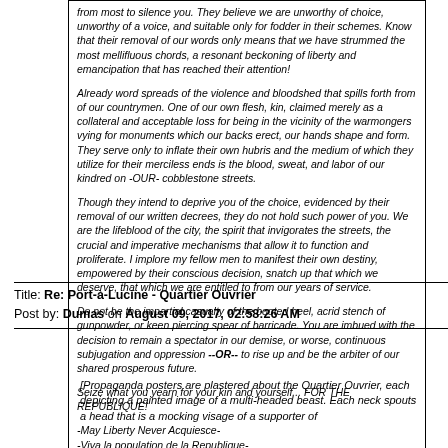from most to silence you. They believe we are unworthy of choice, unworthy of a voice, and suitable only for fodder in their schemes. Know that their removal of our words only means that we have strummed the most mellifluous chords, a resonant beckoning of liberty and emancipation that has reached their attention!
Already word spreads of the violence and bloodshed that spills forth from of our countrymen. One of our own flesh, kin, claimed merely as a collateral and acceptable loss for being in the vicinity of the warmongers vying for monuments which our backs erect, our hands shape and form. They serve only to inflate their own hubris and the medium of which they utilize for their merciless ends is the blood, sweat, and labor of our kindred on -OUR- cobblestone streets.
Though they intend to deprive you of the choice, evidenced by their removal of our written decrees, they do not hold such power of you. We are the lifeblood of the city, the spirit that invigorates the streets, the crucial and imperative mechanisms that allow it to function and proliferate. I implore my fellow men to manifest their own destiny, empowered by their conscious decision, snatch up that which we deserve, that which we are entitled to from our years of service.
Do not be the impartial casualty of the booted heel, acrid stench of gunpowder, or keen piercing spear of barricade. You are imbued with the decision to remain a spectator in our demise, or worse, continuous subjugation and oppression --OR-- to rise up and be the arbiter of our shared prosperous future.
Seize what you yearn for your kin and yourself... FOR THE REPUBLIQUE!
-May Liberty Never Acquiesce-
-Viva la population de la Republique-
Title: Re: Port-à-Lucine - Quartier Ouvrier
Post by: Dumas on August 09, 2017, 02:58:26 AM
[Propaganda posters are plastered about the Quartier Ouvrier, each depicting a painted image of a multi-headed beast. Each neck spouts a head that is a mocking visage of a supporter of